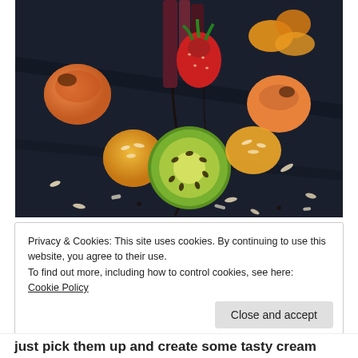[Figure (photo): Overhead photo of a dark slate plate with assorted grilled and fresh fruits: kiwi halves, peaches, strawberry, orange segments, and what appears to be chocolate pieces, garnished with sliced almonds and balsamic drizzle.]
Privacy & Cookies: This site uses cookies. By continuing to use this website, you agree to their use.
To find out more, including how to control cookies, see here:
Cookie Policy
Close and accept
just pick them up and create some tasty cream